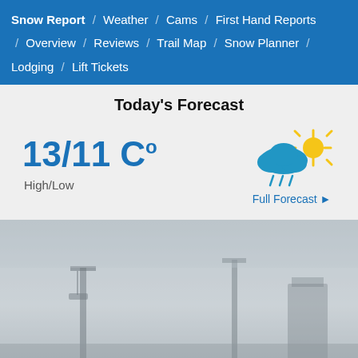Snow Report / Weather / Cams / First Hand Reports / Overview / Reviews / Trail Map / Snow Planner / Lodging / Lift Tickets
Today's Forecast
13/11 C° High/Low
[Figure (illustration): Weather icon showing a blue cloud with rain drops and a yellow sun peeking from behind, with the label 'Full Forecast' in blue with an arrow]
[Figure (photo): A foggy, misty outdoor mountain/ski resort scene showing ski lift equipment in low visibility conditions]